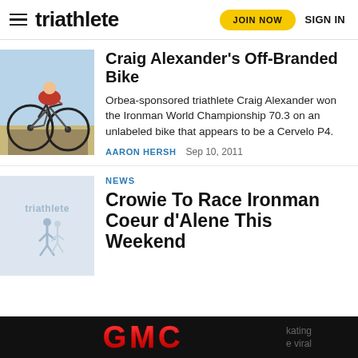triathlete — JOIN NOW | SIGN IN
[Figure (photo): Triathlete riding a bicycle on a road, side view, blue sky background]
Craig Alexander's Off-Branded Bike
Orbea-sponsored triathlete Craig Alexander won the Ironman World Championship 70.3 on an unlabeled bike that appears to be a Cervelo P4.
AARON HERSH   Sep 10, 2011
[Figure (logo): Triathlete placeholder thumbnail with logo and runner silhouette]
NEWS
Crowie To Race Ironman Coeur d'Alene This Weekend
[Figure (logo): GMC advertisement banner, black background with red GMC logo]